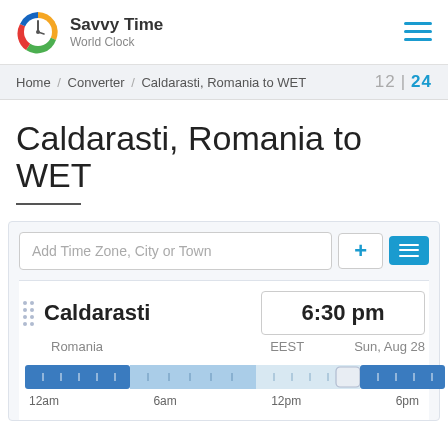Savvy Time World Clock
Home / Converter / Caldarasti, Romania to WET   12 | 24
Caldarasti, Romania to WET
Add Time Zone, City or Town
Caldarasti   6:30 pm   Romania   EEST   Sun, Aug 28
[Figure (infographic): Time zone slider bar showing a 24-hour timeline with dark blue night sections on left and right, light blue day section in middle, and a thumb/handle near the 6pm mark. Time labels: 12am, 6am, 12pm, 6pm]